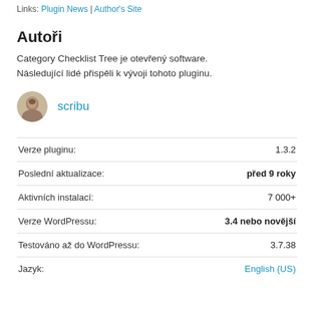Links: Plugin News | Author's Site
Autoři
Category Checklist Tree je otevřený software. Následující lidé přispěli k vývoji tohoto pluginu.
scribu
|  |  |
| --- | --- |
| Verze pluginu: | 1.3.2 |
| Poslední aktualizace: | před 9 roky |
| Aktivních instalací: | 7 000+ |
| Verze WordPressu: | 3.4 nebo novější |
| Testováno až do WordPressu: | 3.7.38 |
| Jazyk: | English (US) |